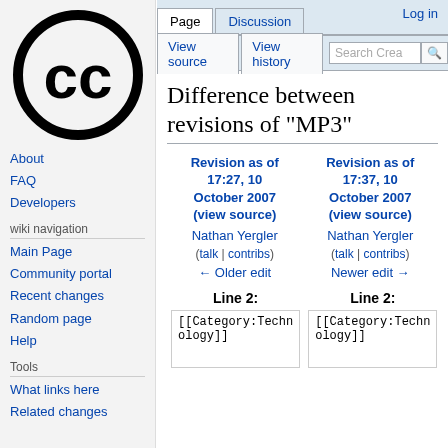[Figure (logo): Creative Commons circular logo with 'CC' letters]
About
FAQ
Developers
wiki navigation
Main Page
Community portal
Recent changes
Random page
Help
Tools
What links here
Related changes
Log in
Difference between revisions of "MP3"
| Revision as of 17:27, 10 October 2007 (view source) | Revision as of 17:37, 10 October 2007 (view source) |
| --- | --- |
| Nathan Yergler | Nathan Yergler |
| (talk | contribs) | (talk | contribs) |
| ← Older edit | Newer edit → |
Line 2:
[[Category:Technology]]
[[Category:Technology]]